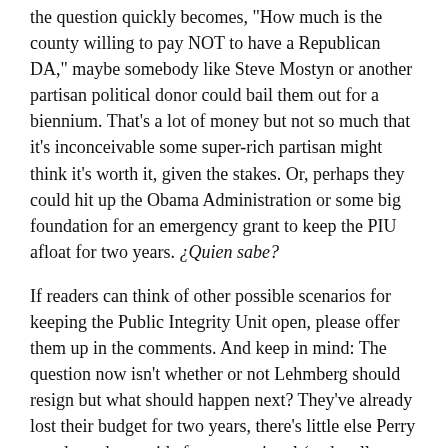the question quickly becomes, "How much is the county willing to pay NOT to have a Republican DA," maybe somebody like Steve Mostyn or another partisan political donor could bail them out for a biennium. That's a lot of money but not so much that it's inconceivable some super-rich partisan might think it's worth it, given the stakes. Or, perhaps they could hit up the Obama Administration or some big foundation for an emergency grant to keep the PIU afloat for two years. ¿Quien sabe?
If readers can think of other possible scenarios for keeping the Public Integrity Unit open, please offer them up in the comments. And keep in mind: The question now isn't whether or not Lehmberg should resign but what should happen next? They've already lost their budget for two years, there's little else Perry can do to them aside from occasional (and well-earned) animadversions in